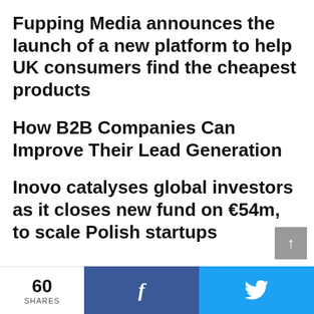Fupping Media announces the launch of a new platform to help UK consumers find the cheapest products
How B2B Companies Can Improve Their Lead Generation
Inovo catalyses global investors as it closes new fund on €54m, to scale Polish startups
60 SHARES